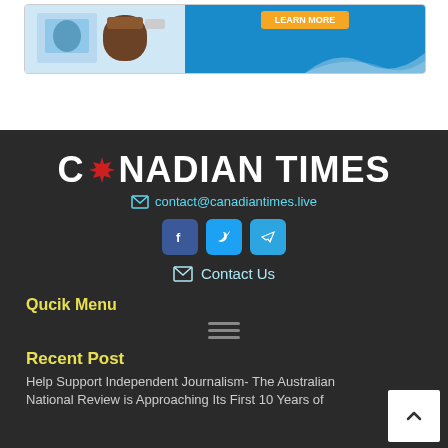[Figure (photo): Advertisement banner with product images on blue background with orange button]
[Figure (logo): Canadian Times logo with maple leaf in white text on dark background]
contact@canadiantimes.live
[Figure (infographic): Social media icons: Facebook, Twitter, Telegram]
Contact Us
Qucik Menu
Recent Post
Help Support Independent Journalism- The Australian National Review is Approaching Its First 10 Years of